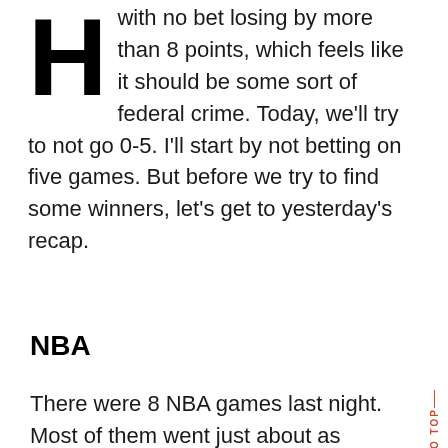with no bet losing by more than 8 points, which feels like it should be some sort of federal crime. Today, we'll try to not go 0-5. I'll start by not betting on five games. But before we try to find some winners, let's get to yesterday's recap.
NBA
There were 8 NBA games last night. Most of them went just about as expected, starting with a Milwaukee win in Orlando. The Bucks were up by 27 at half and are now 14-2 when Giannis, Khris, and Jrue all play. They're 12-1 against the Magic with nine double digit wins since Mike Budenholzer took